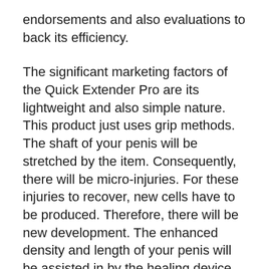endorsements and also evaluations to back its efficiency.
The significant marketing factors of the Quick Extender Pro are its lightweight and also simple nature. This product just uses grip methods. The shaft of your penis will be stretched by the item. Consequently, there will be micro-injuries. For these injuries to recover, new cells have to be produced. Therefore, there will be new development. The enhanced density and length of your penis will be assisted in by the healing device.
What makes this product the best penis extender?